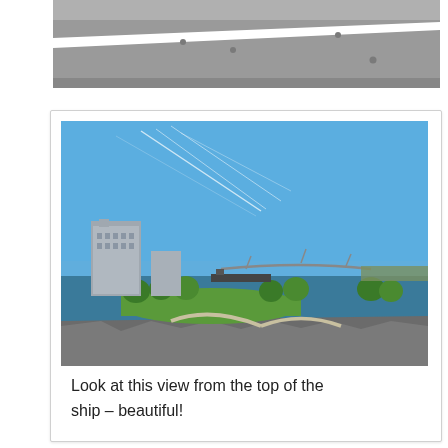[Figure (photo): Close-up view of a ship deck surface — grey painted metal with white stripe and bolts/fixtures visible]
[Figure (photo): Aerial view from top of a ship showing a waterfront park with green grass, trees, pathways, a harbour bridge in the distance, tall buildings to the left, and blue water/sky]
Look at this view from the top of the ship – beautiful!